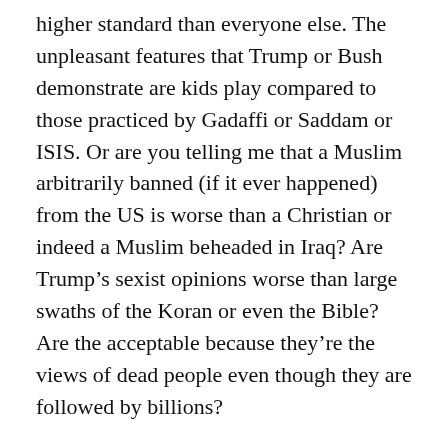higher standard than everyone else. The unpleasant features that Trump or Bush demonstrate are kids play compared to those practiced by Gadaffi or Saddam or ISIS. Or are you telling me that a Muslim arbitrarily banned (if it ever happened) from the US is worse than a Christian or indeed a Muslim beheaded in Iraq? Are Trump’s sexist opinions worse than large swaths of the Koran or even the Bible? Are the acceptable because they’re the views of dead people even though they are followed by billions?
As I say, warmists hate sceptics most of all because we’re easier to deal with than the real problem. Blaming oil companies is the